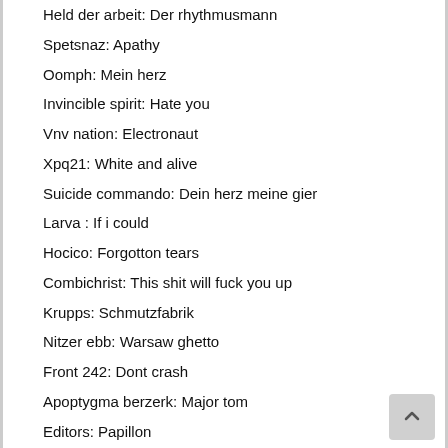Held der arbeit: Der rhythmusmann
Spetsnaz: Apathy
Oomph: Mein herz
Invincible spirit: Hate you
Vnv nation: Electronaut
Xpq21: White and alive
Suicide commando: Dein herz meine gier
Larva : If i could
Hocico: Forgotton tears
Combichrist: This shit will fuck you up
Krupps: Schmutzfabrik
Nitzer ebb: Warsaw ghetto
Front 242: Dont crash
Apoptygma berzerk: Major tom
Editors: Papillon
And one: Steine sind steine
Vnv nation: Retaliate
Combichrist : Get your body beat
Faderhead : Tzdv